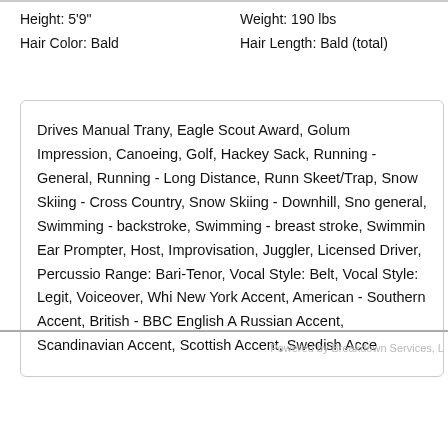Height: 5'9"    Weight: 190 lbs
Hair Color: Bald    Hair Length: Bald (total)
Drives Manual Trany, Eagle Scout Award, Golum Impression, Canoeing, Golf, Hackey Sack, Running - General, Running - Long Distance, Running, Skeet/Trap, Snow Skiing - Cross Country, Snow Skiing - Downhill, Snow - general, Swimming - backstroke, Swimming - breast stroke, Swimming, Ear Prompter, Host, Improvisation, Juggler, Licensed Driver, Percussion, Range: Bari-Tenor, Vocal Style: Belt, Vocal Style: Legit, Voiceover, Whistling, New York Accent, American - Southern Accent, British - BBC English Accent, Russian Accent, Scandinavian Accent, Scottish Accent, Swedish Accent
Powered by Breakdown Services, L